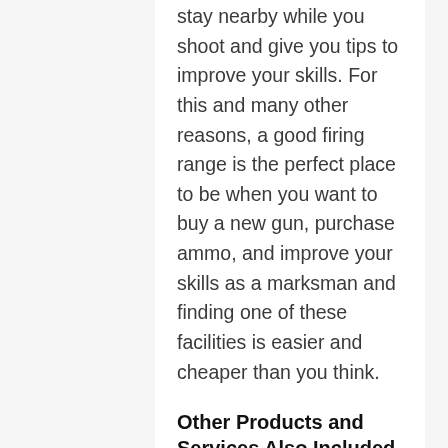stay nearby while you shoot and give you tips to improve your skills. For this and many other reasons, a good firing range is the perfect place to be when you want to buy a new gun, purchase ammo, and improve your skills as a marksman and finding one of these facilities is easier and cheaper than you think.
Other Products and Services Also Included
The facilities that provide gun enthusiasts with guns and ammo and an indoor shooting